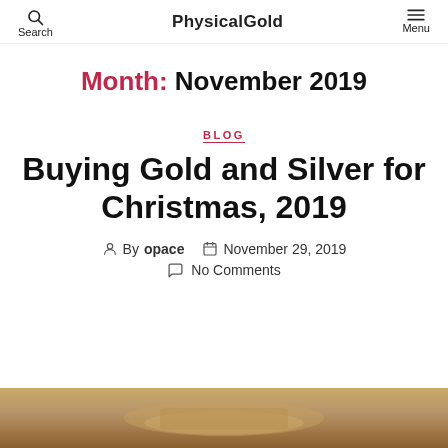Search  PhysicalGold  Menu
Month: November 2019
BLOG
Buying Gold and Silver for Christmas, 2019
By opace  November 29, 2019  No Comments
[Figure (photo): Partial thumbnail image of gold/silver items at bottom of page]